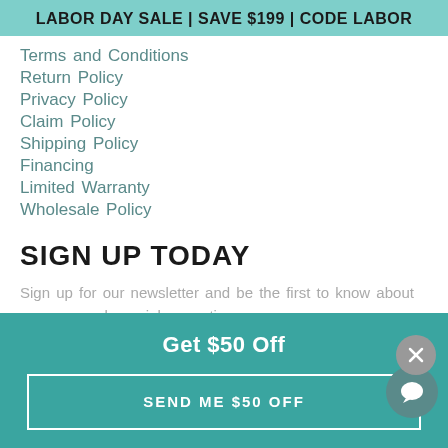LABOR DAY SALE | SAVE $199 | CODE LABOR
Terms and Conditions
Return Policy
Privacy Policy
Claim Policy
Shipping Policy
Financing
Limited Warranty
Wholesale Policy
SIGN UP TODAY
Sign up for our newsletter and be the first to know about coupons and special promotions.
Get $50 Off
SEND ME $50 OFF